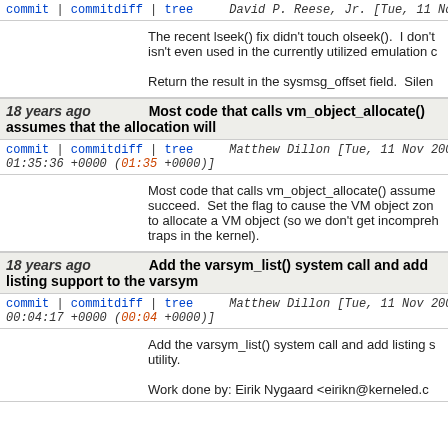commit | commitdiff | tree   David P. Reese, Jr. [Tue, 11 Nov 2003 09:28:15 +0000 (09:28 +0000)]
The recent lseek() fix didn't touch olseek().  I don't think olseek() isn't even used in the currently utilized emulation c...

Return the result in the sysmsg_offset field.  Sile...
18 years ago   Most code that calls vm_object_allocate() assumes that the allocation will
commit | commitdiff | tree   Matthew Dillon [Tue, 11 Nov 2003 01:35:36 +0000 (01:35 +0000)]
Most code that calls vm_object_allocate() assumes that the allocation will succeed.  Set the flag to cause the VM object zone to allocate a VM object (so we don't get incomprehensible traps in the kernel).
18 years ago   Add the varsym_list() system call and add listing support to the varsym
commit | commitdiff | tree   Matthew Dillon [Tue, 11 Nov 2003 00:04:17 +0000 (00:04 +0000)]
Add the varsym_list() system call and add listing s... utility.

Work done by: Eirik Nygaard <eirikn@kerneled.c...